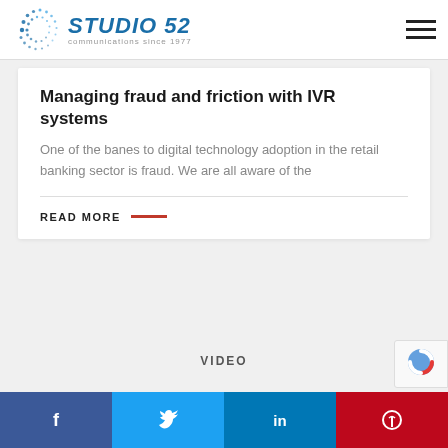Studio 52 — communications since 1977
Managing fraud and friction with IVR systems
One of the banes to digital technology adoption in the retail banking sector is fraud. We are all aware of the
READ MORE
VIDEO
Facebook | Twitter | LinkedIn | Pinterest